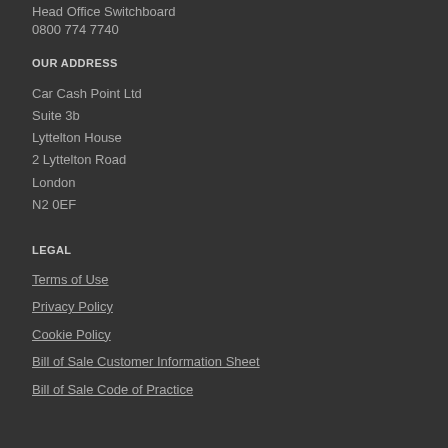Head Office Switchboard
0800 774 7740
OUR ADDRESS
Car Cash Point Ltd
Suite 3b
Lyttelton House
2 Lyttelton Road
London
N2 0EF
LEGAL
Terms of Use
Privacy Policy
Cookie Policy
Bill of Sale Customer Information Sheet
Bill of Sale Code of Practice